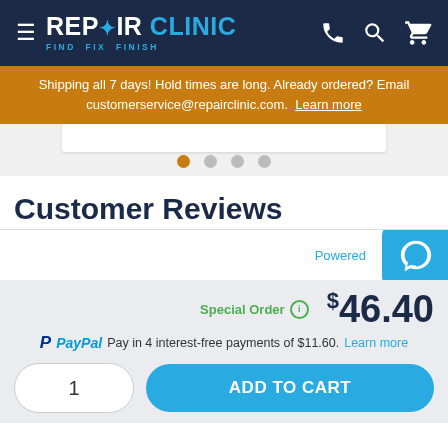REPAIR CLINIC — FIND. FIX. FINISH.
Shipping all 7 days! Hold times are long. Already ordered? Email customerservice@repairclinic.com. Learn more
[Figure (screenshot): Carousel with white card and 4 pagination dots, first dot active in orange]
Customer Reviews
Powered
Special Order ⓘ  $46.40
PayPal Pay in 4 interest-free payments of $11.60. Learn more
1  ADD TO CART